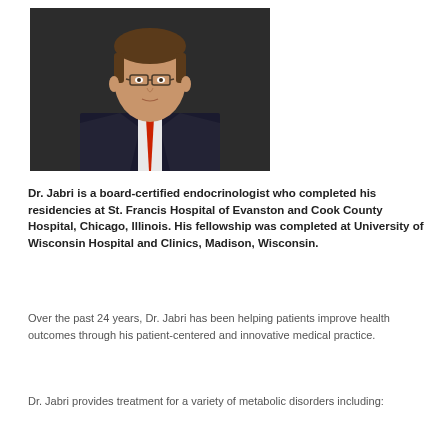[Figure (photo): Professional headshot of Dr. Jabri, a middle-aged man wearing glasses, a dark suit, and a red tie, photographed against a dark background.]
Dr. Jabri is a board-certified endocrinologist who completed his residencies at St. Francis Hospital of Evanston and Cook County Hospital, Chicago, Illinois.  His fellowship was completed at University of Wisconsin Hospital and Clinics, Madison, Wisconsin.
Over the past 24 years, Dr. Jabri has been helping patients improve health outcomes through his patient-centered and innovative medical practice.
Dr. Jabri provides treatment for a variety of metabolic disorders including: